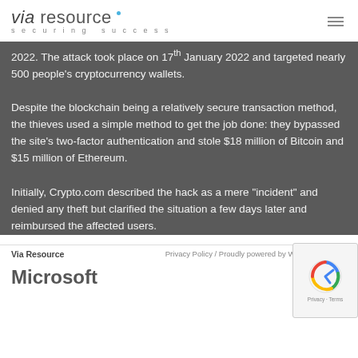via resource securing success
2022. The attack took place on 17th January 2022 and targeted nearly 500 people's cryptocurrency wallets.
Despite the blockchain being a relatively secure transaction method, the thieves used a simple method to get the job done: they bypassed the site's two-factor authentication and stole $18 million of Bitcoin and $15 million of Ethereum.
Initially, Crypto.com described the hack as a mere “incident” and denied any theft but clarified the situation a few days later and reimbursed the affected users.
Via Resource   Privacy Policy / Proudly powered by WordPress The...
Microsoft